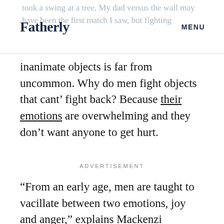Fatherly | MENU
inanimate objects is far from uncommon. Why do men fight objects that cant’ fight back? Because their emotions are overwhelming and they don’t want anyone to get hurt.
ADVERTISEMENT
“From an early age, men are taught to vacillate between two emotions, joy and anger,” explains Mackenzi Kingdon, a therapist who specializes in